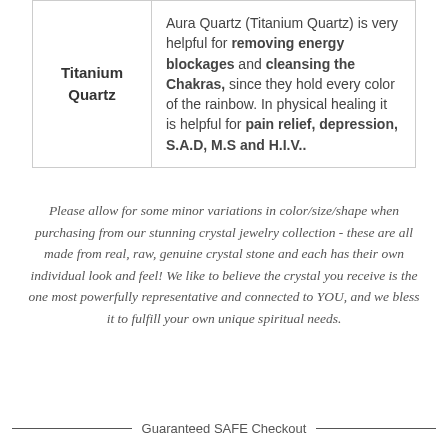| Titanium Quartz | Aura Quartz (Titanium Quartz) is very helpful for removing energy blockages and cleansing the Chakras, since they hold every color of the rainbow. In physical healing it is helpful for pain relief, depression, S.A.D, M.S and H.I.V.. |
Please allow for some minor variations in color/size/shape when purchasing from our stunning crystal jewelry collection - these are all made from real, raw, genuine crystal stone and each has their own individual look and feel! We like to believe the crystal you receive is the one most powerfully representative and connected to YOU, and we bless it to fulfill your own unique spiritual needs.
Guaranteed SAFE Checkout